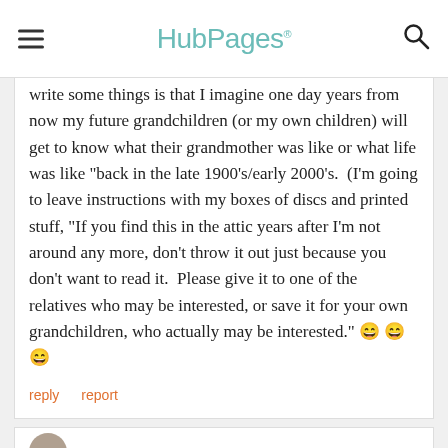HubPages
write some things is that I imagine one day years from now my future grandchildren (or my own children) will get to know what their grandmother was like or what life was like "back in the late 1900's/early 2000's.  (I'm going to leave instructions with my boxes of discs and printed stuff, "If you find this in the attic years after I'm not around any more, don't throw it out just because you don't want to read it.  Please give it to one of the relatives who may be interested, or save it for your own grandchildren, who actually may be interested." 😄 😄 😄
reply   report